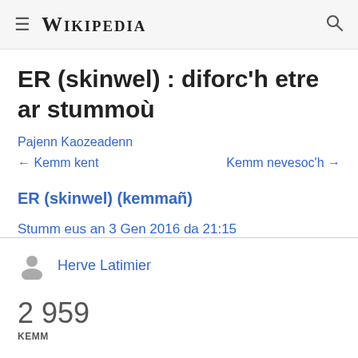≡ WIKIPEDIA 🔍
ER (skinwel) : diforc'h etre ar stummoù
Pajenn Kaozeadenn
← Kemm kent    Kemm nevesoc'h →
ER (skinwel) (kemmañ)
Stumm eus an 3 Gen 2016 da 21:15
Herve Latimier
2 959
KEMM